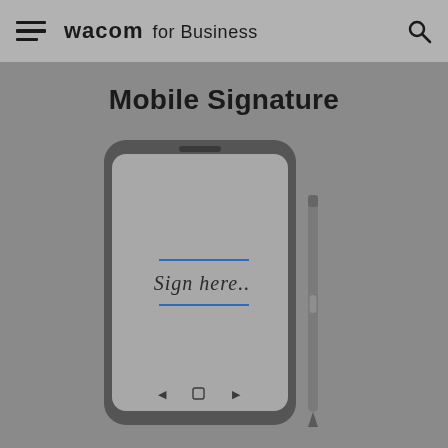wacom for Business
Mobile Signature
[Figure (photo): A modern smartphone displayed upright showing a signature capture screen with 'Sign here..' text and blue underlines, alongside a stylus pen, all on a gray background.]